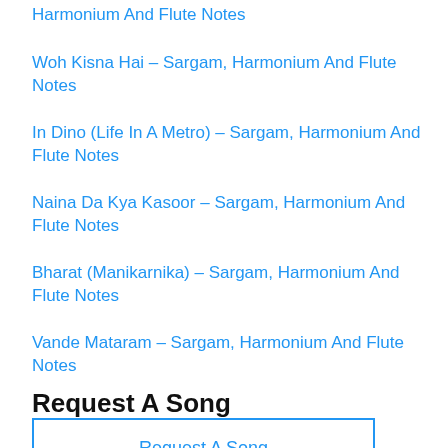Harmonium And Flute Notes
Woh Kisna Hai – Sargam, Harmonium And Flute Notes
In Dino (Life In A Metro) – Sargam, Harmonium And Flute Notes
Naina Da Kya Kasoor – Sargam, Harmonium And Flute Notes
Bharat (Manikarnika) – Sargam, Harmonium And Flute Notes
Vande Mataram – Sargam, Harmonium And Flute Notes
Request A Song
Request A Song